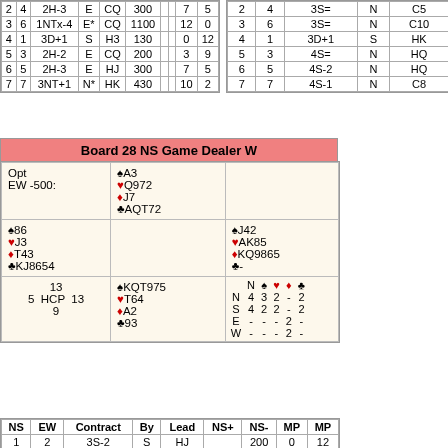|  |  | Contract | By | Lead | NS+ |  | NS- | MP | MP |
| --- | --- | --- | --- | --- | --- | --- | --- | --- | --- |
| 2 | 4 | 2H-3 | E | CQ | 300 |  |  | 7 | 5 |
| 3 | 6 | 1NTx-4 | E* | CQ | 1100 |  |  | 12 | 0 |
| 4 | 1 | 3D+1 | S | H3 | 130 |  |  | 0 | 12 |
| 5 | 3 | 2H-2 | E | CQ | 200 |  |  | 3 | 9 |
| 6 | 5 | 2H-3 | E | HJ | 300 |  |  | 7 | 5 |
| 7 | 7 | 3NT+1 | N* | HK | 430 |  |  | 10 | 2 |
|  |  | Contract | By | Lead |
| --- | --- | --- | --- | --- |
| 2 | 4 | 3S= | N | C5 |
| 3 | 6 | 3S= | N | C10 |
| 4 | 1 | 3D+1 | S | HK |
| 5 | 3 | 4S= | N | HQ |
| 6 | 5 | 4S-2 | N | HQ |
| 7 | 7 | 4S-1 | N | C8 |
Board 28 NS Game Dealer W
| Opt EW -500: | ♠A3 ♥Q972 ♦J7 ♣AQT72 |  |
| ♠86 ♥J3 ♦T43 ♣KJ8654 |  | ♠J42 ♥AK85 ♦KQ9865 ♣- |
| 13 5 HCP 13 9 | ♠KQT975 ♥T64 ♦A2 ♣93 | N/S/E/W trick table |
| NS | EW | Contract | By | Lead | NS+ | NS- | MP | MP |
| --- | --- | --- | --- | --- | --- | --- | --- | --- |
| 1 | 2 | 3S-2 | S | HJ |  | 200 | 0 | 12 |
| 2 | 4 | 2S+2 | S | D3 | 170 |  | 8 | 4 |